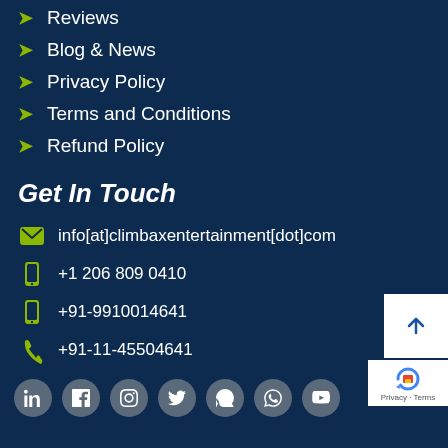Reviews
Blog & News
Privacy Policy
Terms and Conditions
Refund Policy
Get In Touch
info[at]climbaxentertainment[dot]com
+1 206 809 0410
+91-9910014641
+91-11-45504641
[Figure (other): Social media icon row: LinkedIn, Facebook, Instagram, Twitter, Skype, WhatsApp, YouTube]
[Figure (other): Back to top arrow button and reCAPTCHA badge]